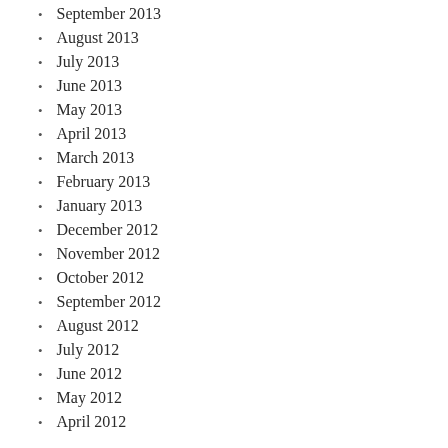September 2013
August 2013
July 2013
June 2013
May 2013
April 2013
March 2013
February 2013
January 2013
December 2012
November 2012
October 2012
September 2012
August 2012
July 2012
June 2012
May 2012
April 2012